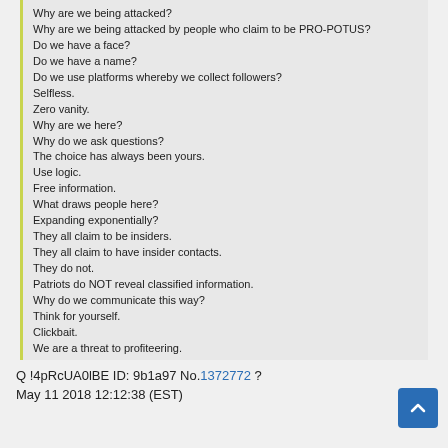Why are we being attacked?
Why are we being attacked by people who claim to be PRO-POTUS?
Do we have a face?
Do we have a name?
Do we use platforms whereby we collect followers?
Selfless.
Zero vanity.
Why are we here?
Why do we ask questions?
The choice has always been yours.
Use logic.
Free information.
What draws people here?
Expanding exponentially?
They all claim to be insiders.
They all claim to have insider contacts.
They do not.
Patriots do NOT reveal classified information.
Why do we communicate this way?
Think for yourself.
Clickbait.
We are a threat to profiteering.
Information should flow freely w/o costs.
We established a series of 'proofs' for this specific reason.
Undeniable.
Unpredictable.
Coincidence after Coincidence.
Growth due to confirmations.
Real source(s) communicating w/ the people.
Unrestricted.
TOGETHER.
Control the information (THEY).
Harness followers / profiteering (THEY).
Define Media.
Primary goal of the Media?
To Sell (each selling a dif narrative - set of targets).
Selling makes money.
Be careful who you follow.
Define 'Patriot'.
They want you DIVIDED.
Attacks will only get worse.
Q
Q !4pRcUA0lBE ID: 9b1a97 No.1372772 ?
May 11 2018 12:12:38 (EST)